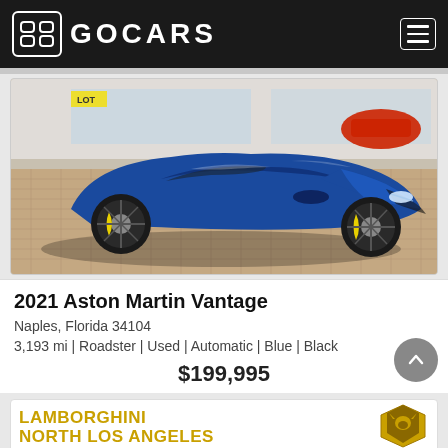GOCARS
[Figure (photo): 2021 Aston Martin Vantage Roadster in blue, parked on a brick driveway in front of a car dealership showroom. Yellow brake calipers visible on black wheels.]
2021 Aston Martin Vantage
Naples, Florida 34104
3,193 mi | Roadster | Used | Automatic | Blue | Black
$199,995
[Figure (logo): Lamborghini North Los Angeles advertisement banner with Lamborghini bull logo]
LAMBORGHINI
NORTH LOS ANGELES